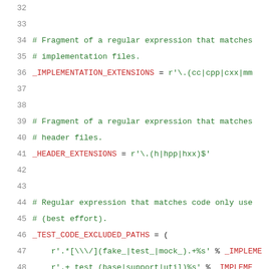32 (blank line)
33 (blank line)
34     # Fragment of a regular expression that matches implementation files.
35     # implementation files.
36     _IMPLEMENTATION_EXTENSIONS = r'\.(cc|cpp|cxx|mm
37 (blank line)
38 (blank line)
39     # Fragment of a regular expression that matches header files.
40     # header files.
41     _HEADER_EXTENSIONS = r'\.(h|hpp|hxx)$'
42 (blank line)
43 (blank line)
44     # Regular expression that matches code only use
45     # (best effort).
46     _TEST_CODE_EXCLUDED_PATHS = (
47         r'.*[\/](fake_|test_|mock_).+%s' % _IMPLEME
48         r'.+_test_(base|support|util)%s' % _IMPLEME
49         r'.+_(api|browser|eg|int|perf|pixel|unit|ui
50             _IMPLEMENTATION_EXTENSIONS,
51         r'.+profile_sync_service_harness%s' % _IMPL
52         r'.*[\/](test|tool(s)?)[\/].*',